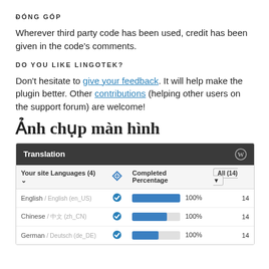ĐÓNG GÓP
Wherever third party code has been used, credit has been given in the code's comments.
DO YOU LIKE LINGOTEK?
Don't hesitate to give your feedback. It will help make the plugin better. Other contributions (helping other users on the support forum) are welcome!
Ảnh chụp màn hình
[Figure (screenshot): Screenshot of Lingotek Translation plugin panel showing a table with site languages (English, Chinese, German), completed percentage progress bars at 100%, and a count of 14 for each.]